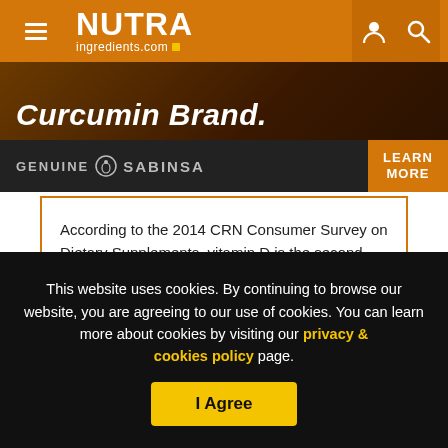NUTRAingredients.com
[Figure (screenshot): Advertisement banner showing 'Curcumin Brand.' with Genuine Sabinsa branding and a 'Learn More' button on an orange background]
According to the 2014 CRN Consumer Survey on Dietary Supplements, vitamin D is the second leading category among supplement users after multivitamins.
This website uses cookies. By continuing to browse our website, you are agreeing to our use of cookies. You can learn more about cookies by visiting our privacy & cookies policy page. I Agree